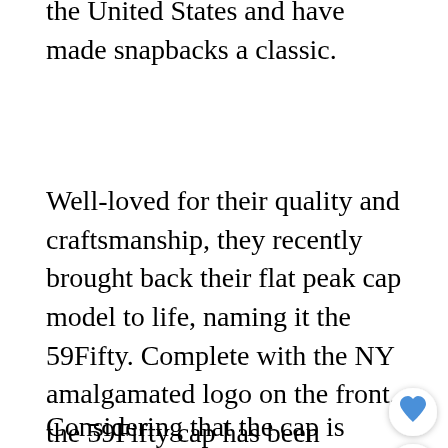They also offer official gear to fans around the United States and have made snapbacks a classic.
Well-loved for their quality and craftsmanship, they recently brought back their flat peak cap model to life, naming it the 59Fifty. Complete with the NY amalgamated logo on the front, the 59Fifty cap has been featured in the field and in multiple music videos and movies. Read more New Era hats here.
[Figure (screenshot): UI overlay with heart/like button, share button, and a 'What's Next' widget showing a thumbnail and text 'Reasons You Might Not...']
Considering that the cap is affordable